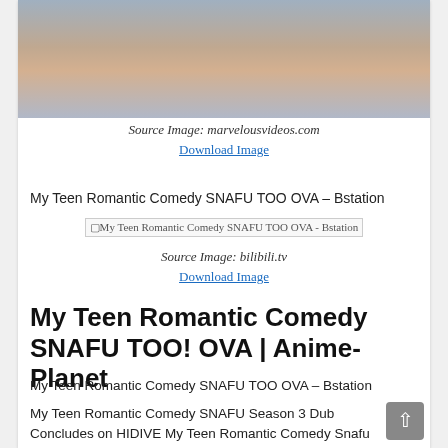[Figure (photo): Anime screenshot showing characters from My Teen Romantic Comedy SNAFU]
Source Image: marvelousvideos.com
Download Image
My Teen Romantic Comedy SNAFU TOO OVA – Bstation
[Figure (photo): Broken image placeholder: My Teen Romantic Comedy SNAFU TOO OVA - Bstation]
Source Image: bilibili.tv
Download Image
My Teen Romantic Comedy SNAFU TOO! OVA | Anime-Planet
My Teen Romantic Comedy SNAFU TOO OVA – Bstation
My Teen Romantic Comedy SNAFU Season 3 Dub Concludes on HIDIVE My Teen Romantic Comedy Snafu Climax! Ova – Everything We Know So Far – Marvelous Videos My Teenage Romantic Comedy Snafu Too Ova